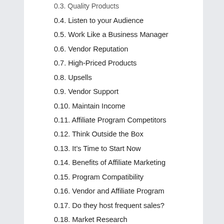0.3. Quality Products
0.4. Listen to your Audience
0.5. Work Like a Business Manager
0.6. Vendor Reputation
0.7. High-Priced Products
0.8. Upsells
0.9. Vendor Support
0.10. Maintain Income
0.11. Affiliate Program Competitors
0.12. Think Outside the Box
0.13. It’s Time to Start Now
0.14. Benefits of Affiliate Marketing
0.15. Program Compatibility
0.16. Vendor and Affiliate Program
0.17. Do they host frequent sales?
0.18. Market Research
0.19. Takeaway
0.20. Affiliate Marketing For Beginners (How It Works)
0.21.